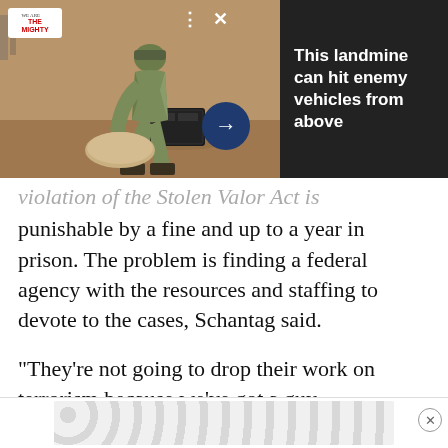[Figure (photo): Advertisement banner showing a soldier in camouflage uniform crouching on sandy ground with military equipment. Logo reads 'We Are The Mighty'. Headline reads 'This landmine can hit enemy vehicles from above'. Dark background with arrow button.]
violation of the Stolen Valor Act is punishable by a fine and up to a year in prison. The problem is finding a federal agency with the resources and staffing to devote to the cases, Schantag said.
“They’re not going to drop their work on terrorism because we’ve got a guy cl[aining to be a] S[eal]